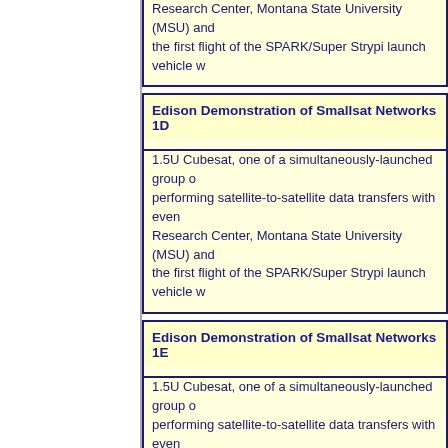Research Center, Montana State University (MSU) and the first flight of the SPARK/Super Strypi launch vehicle w
Edison Demonstration of Smallsat Networks 1D
1.5U Cubesat, one of a simultaneously-launched group o performing satellite-to-satellite data transfers with even Research Center, Montana State University (MSU) and the first flight of the SPARK/Super Strypi launch vehicle w
Edison Demonstration of Smallsat Networks 1E
1.5U Cubesat, one of a simultaneously-launched group o performing satellite-to-satellite data transfers with even Research Center, Montana State University (MSU) and the first flight of the SPARK/Super Strypi launch vehicle w
Edison Demonstration of Smallsat Networks 1F
1.5U Cubesat, one of a simultaneously-launched group o performing satellite-to-satellite data transfers with even Research Center, Montana State University (MSU) and the first flight of the SPARK/Super Strypi launch vehicle w
Edison Demonstration of Smallsat Networks 1G
1.5U Cubesat, one of a simultaneously-launched group o performing satellite-to-satellite data transfers with even